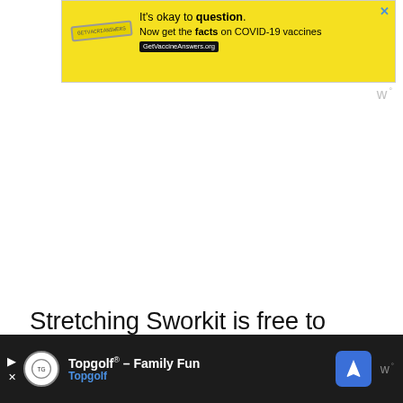[Figure (screenshot): Yellow advertisement banner: 'It's okay to question. Now get the facts on COVID-19 vaccines GetVaccineAnswers.org' with close button]
Stretching Sworkit is free to download and use on both Android and iOS, but it does offer in-app purchases as well as the option to subscribe for access to additional content.
Best Online Personal Trainer App – Caliber Fitness
[Figure (screenshot): Bottom advertisement bar for Topgolf: 'Topgolf® – Family Fun Topgolf' with navigation arrow icon and Wibbitz logo]